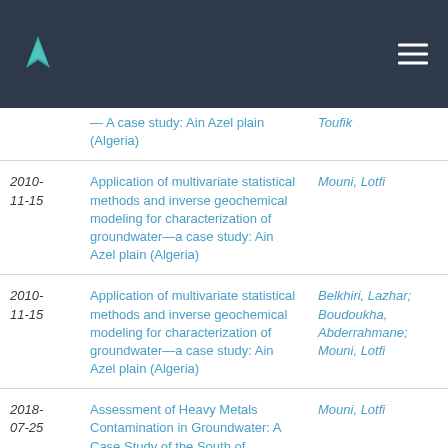| Date | Title | Author |
| --- | --- | --- |
|  | — A case study: Ain Azel plain (Algeria) | Toufik |
| 2010-11-15 | Application of multivariate statistical methods and inverse geochemical modeling for characterization of groundwater—a case study: Ain Azel plain (Algeria) | Mouni, Lotfi |
| 2010-11-15 | Application of multivariate statistical methods and inverse geochemical modeling for characterization of groundwater—a case study: Ain Azel plain (Algeria) | Belkhiri, Lazhar; Boudoukha, Abderrahmane; Mouni, Lotfi |
| 2018-07-25 | Assessment of Heavy Metals Contamination in Groundwater: A Case Study of the South of … | Mouni, Lotfi |